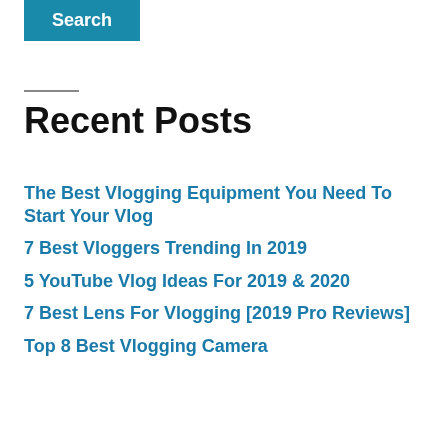[Figure (other): Blue search button with white text 'Search']
Recent Posts
The Best Vlogging Equipment You Need To Start Your Vlog
7 Best Vloggers Trending In 2019
5 YouTube Vlog Ideas For 2019 & 2020
7 Best Lens For Vlogging [2019 Pro Reviews]
Top 8 Best Vlogging Camera